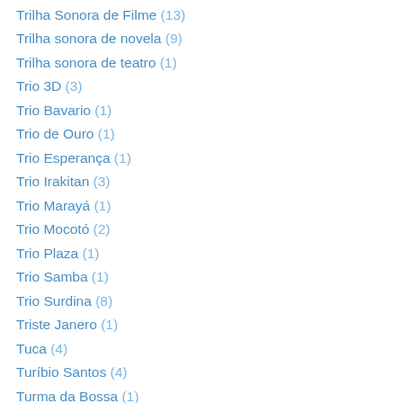Trilha Sonora de Filme (13)
Trilha sonora de novela (9)
Trilha sonora de teatro (1)
Trio 3D (3)
Trio Bavario (1)
Trio de Ouro (1)
Trio Esperança (1)
Trio Irakitan (3)
Trio Marayá (1)
Trio Mocotó (2)
Trio Plaza (1)
Trio Samba (1)
Trio Surdina (8)
Triste Janero (1)
Tuca (4)
Turíbio Santos (4)
Turma da Bossa (1)
Turma da Gafieira (2)
Turquinho (2)
Uwe Buschkotter (1)